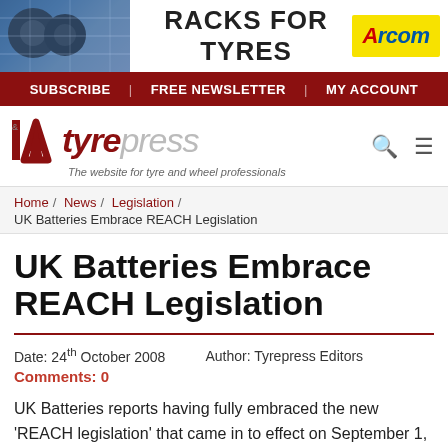[Figure (photo): Banner advertisement for Arcom Racks for Tyres with photo of tyre racks in background]
SUBSCRIBE | FREE NEWSLETTER | MY ACCOUNT
[Figure (logo): I&A Tyrepress logo with tagline: The website for tyre and wheel professionals]
Home / News / Legislation /
UK Batteries Embrace REACH Legislation
UK Batteries Embrace REACH Legislation
Date: 24th October 2008     Author: Tyrepress Editors
Comments: 0
UK Batteries reports having fully embraced the new 'REACH legislation' that came in to effect on September 1, 2008 and requires battery producers